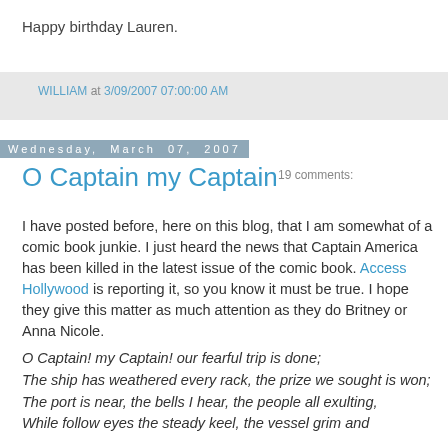Happy birthday Lauren.
WILLIAM at 3/09/2007 07:00:00 AM    19 comments:
Wednesday, March 07, 2007
O Captain my Captain
I have posted before, here on this blog, that I am somewhat of a comic book junkie. I just heard the news that Captain America has been killed in the latest issue of the comic book. Access Hollywood is reporting it, so you know it must be true. I hope they give this matter as much attention as they do Britney or Anna Nicole.
O Captain! my Captain! our fearful trip is done;
The ship has weathered every rack, the prize we sought is won;
The port is near, the bells I hear, the people all exulting,
While follow eyes the steady keel, the vessel grim and